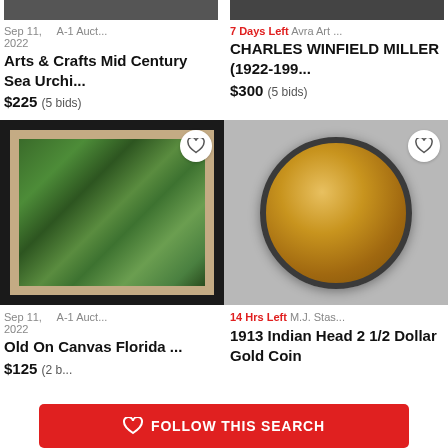[Figure (photo): Partial top of auction item image (left column, cropped)]
Sep 11, 2022   A-1 Auct...
Arts & Crafts Mid Century Sea Urchi...
$225 (5 bids)
[Figure (photo): Partial top of auction item image (right column, cropped)]
7 Days Left  Avra Art ...
CHARLES WINFIELD MILLER (1922-199...
$300 (5 bids)
[Figure (photo): Framed painting of Florida landscape with trees and water, in white and gold frame, with heart/favorite button]
[Figure (photo): 1913 Indian Head 2 1/2 Dollar Gold Coin in clear plastic holder on dark background, with heart/favorite button]
Sep 11, 2022   A-1 Auct...
Old On Canvas Florida ...
$125 (2 b...
14 Hrs Left  M.J. Stas...
1913 Indian Head 2 1/2 Dollar Gold Coin
♡ FOLLOW THIS SEARCH